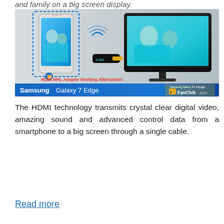and family on a big screen display.
[Figure (photo): Promotional image showing a Samsung Galaxy 7 Edge smartphone wirelessly mirroring content to a big screen TV via an HDMI MHL Adapter dongle. Two children dressed as pilots appear on both the phone and TV screens. Text overlay reads 'HDMI MHL Adapter Working Alternatives', 'Samsung Galaxy 7 Edge', and 'Samsung Galaxy S7 & Edge FanClub.com'.]
The HDMI technology transmits crystal clear digital video, amazing sound and advanced control data from a smartphone to a big screen through a single cable.
Read more